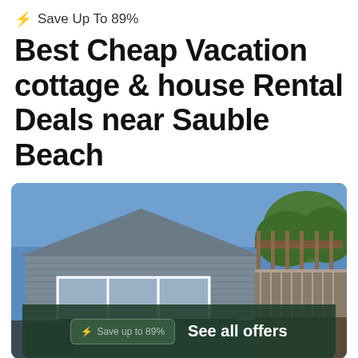⚡ Save Up To 89%
Best Cheap Vacation cottage & house Rental Deals near Sauble Beach
[Figure (photo): Exterior photo of a grey-sided house with large windows and a pergola/deck on the right side, set against a blue sky with trees]
See all offers